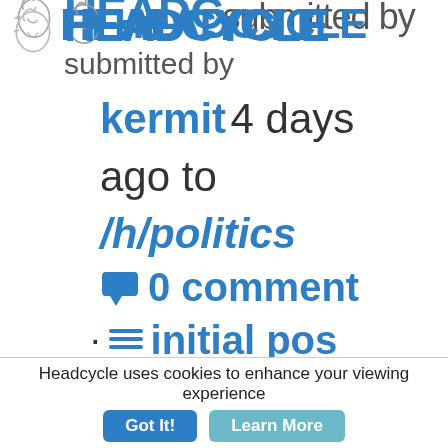HEADCYCLE submitted by
kermit 4 days ago to /h/politics
💬 0 comments
· ≡ initial post
· ⊕ save ·
↑ share
Headcycle uses cookies to enhance your viewing experience